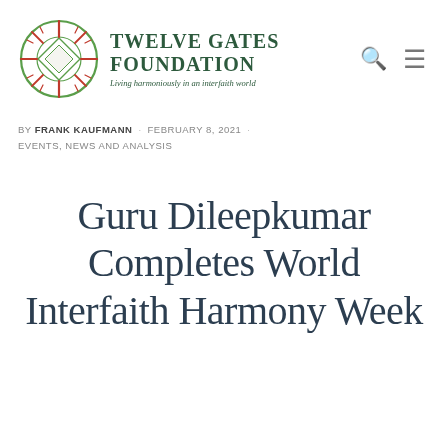[Figure (logo): Twelve Gates Foundation logo: circular mandala/compass star design in green and red/orange, with text 'Twelve Gates Foundation' in dark green serif uppercase and tagline 'Living harmoniously in an interfaith world' in italic green]
BY FRANK KAUFMANN · FEBRUARY 8, 2021 · EVENTS, NEWS AND ANALYSIS
Guru Dileepkumar Completes World Interfaith Harmony Week